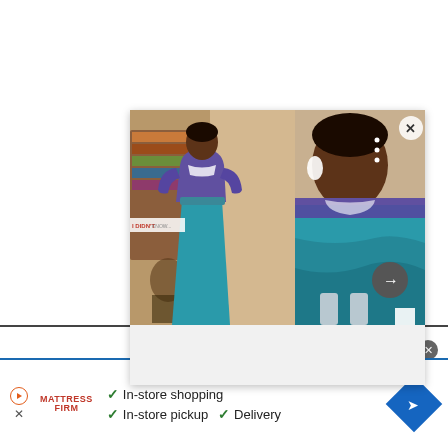[Figure (screenshot): Google search image gallery panel showing a Barbie doll wearing a purple top and teal skirt, with close-up views on the right side. A navigation arrow button is visible in the bottom-right of the image panel.]
[Figure (screenshot): Advertisement bar at the bottom for Mattress Firm showing checkmarks next to 'In-store shopping', 'In-store pickup', and 'Delivery' with a blue diamond navigation icon on the right.]